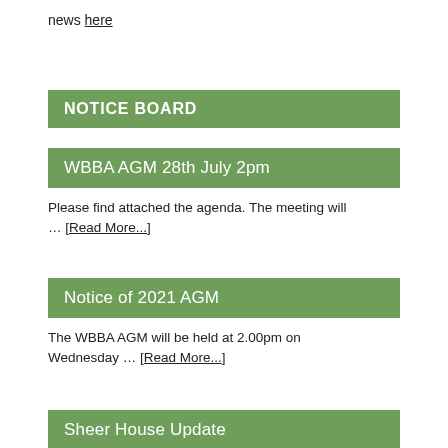news here
NOTICE BOARD
WBBA AGM 28th July 2pm
Please find attached the agenda. The meeting will … [Read More...]
Notice of 2021 AGM
The WBBA AGM will be held at 2.00pm on Wednesday … [Read More...]
Sheer House Update